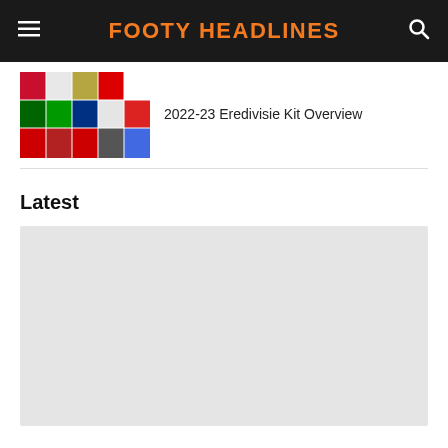FOOTY HEADLINES
[Figure (screenshot): Grid of Eredivisie club badge thumbnails in colorful squares]
2022-23 Eredivisie Kit Overview
Latest
[Figure (photo): Placeholder light gray image block]